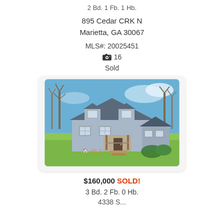2 Bd. 1 Fb. 1 Hb.
895 Cedar CRK N
Marietta, GA 30067
MLS#: 20025451
📷 16
Sold
[Figure (photo): Exterior photo of a blue/gray Cape Cod style house with front porch, two dormers, surrounded by bare trees and green lawn. Georgia MLS watermark visible.]
$160,000 SOLD!
3 Bd. 2 Fb. 0 Hb.
4338 S... Rd...